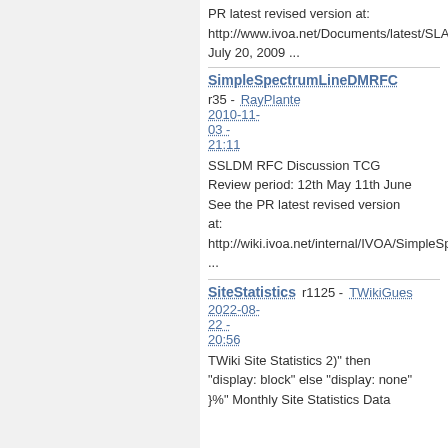PR latest revised version at: http://www.ivoa.net/Documents/latest/SLAP July 20, 2009 ...
SimpleSpectrumLineDMRFC
r35 - RayPlante 2010-11-03 - 21:11
SSLDM RFC Discussion TCG Review period: 12th May 11th June See the PR latest revised version at: http://wiki.ivoa.net/internal/IVOA/SimpleSpe ...
SiteStatistics
r1125 - TWikiGuest 2022-08-22 - 20:56
TWiki Site Statistics 2)" then "display: block" else "display: none" }%" Monthly Site Statistics Data MonthNote Date(1) dd-dd dd